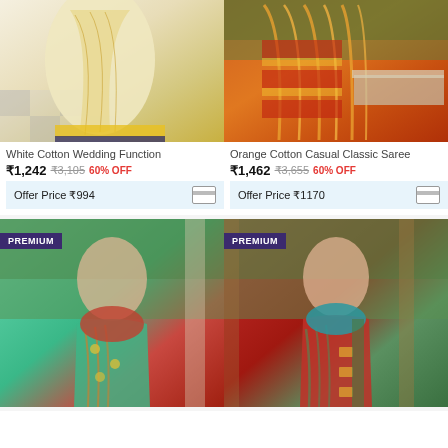[Figure (photo): White Cotton Wedding Function saree product photo]
[Figure (photo): Orange Cotton Casual Classic Saree product photo]
White Cotton Wedding Function
₹1,242  ₹3,105  60% OFF
Offer Price ₹994
Orange Cotton Casual Classic Saree
₹1,462  ₹3,655  60% OFF
Offer Price ₹1170
[Figure (photo): PREMIUM teal/red saree worn by model outdoors]
[Figure (photo): PREMIUM red saree worn by model outdoors]